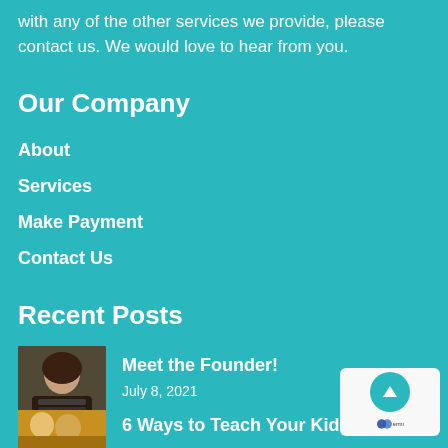with any of the other services we provide, please contact us. We would love to hear from you.
Our Company
About
Services
Make Payment
Contact Us
Recent Posts
[Figure (photo): Portrait photo of a woman with long dark hair, smiling, wearing a striped top]
Meet the Founder!
July 8, 2021
[Figure (photo): Photo of people, partially visible at bottom of page]
6 Ways to Teach Your Kids